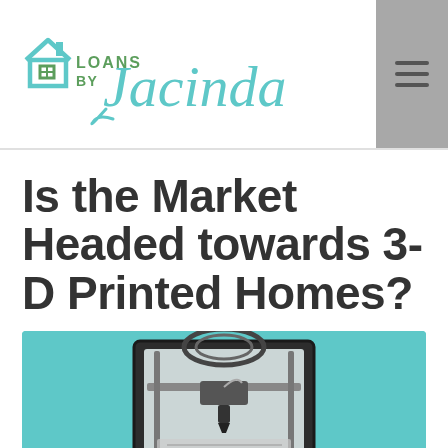[Figure (logo): Loans by Jacinda logo with teal house icon and script font]
Is the Market Headed towards 3-D Printed Homes?
[Figure (illustration): Illustration of a 3D printer on a teal background]